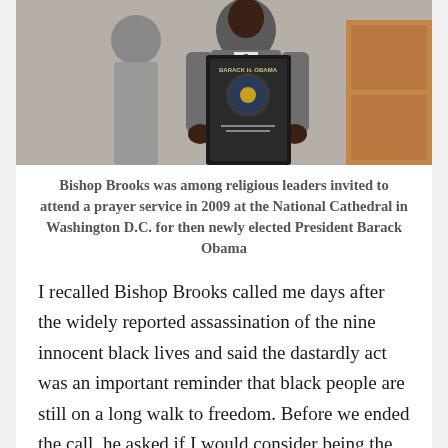[Figure (photo): A person holding a framed Barack Obama portrait/plaque, standing indoors near wooden cabinetry.]
Bishop Brooks was among religious leaders invited to attend a prayer service in 2009 at the National Cathedral in Washington D.C. for then newly elected President Barack Obama
I recalled Bishop Brooks called me days after the widely reported assassination of the nine innocent black lives and said the dastardly act was an important reminder that black people are still on a long walk to freedom. Before we ended the call, he asked if I would consider being the keynote speaker the following Sunday morning at his church, because he wanted me to speak directly about the massacre in South Carolina and the larger